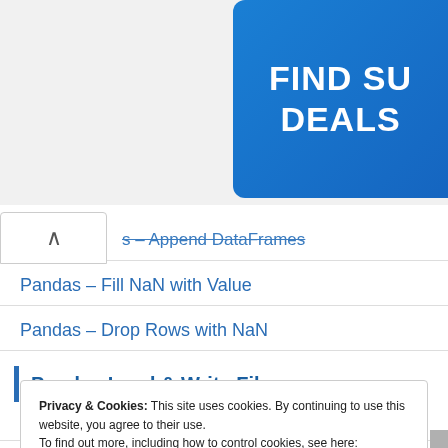[Figure (other): Blue advertisement banner showing 'FIND SU... DEALS...' text, partially cropped on the right side]
s – Append DataFrames (strikethrough)
Pandas – Fill NaN with Value
Pandas – Drop Rows with NaN
Pandas Load & Write Files
Pandas – Read JSON
Privacy & Cookies: This site uses cookies. By continuing to use this website, you agree to their use.
To find out more, including how to control cookies, see here:
Cookie Policy

Close and accept